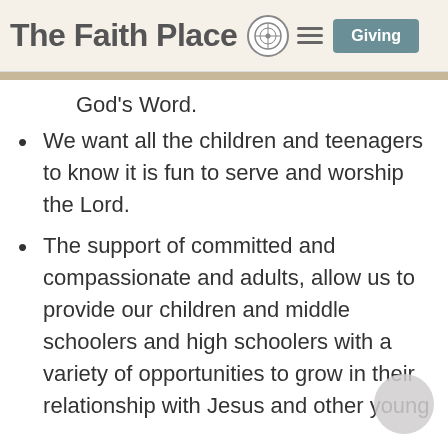The Faith Place — Giving
God's Word.
We want all the children and teenagers to know it is fun to serve and worship the Lord.
The support of committed and compassionate and adults, allow us to provide our children and middle schoolers and high schoolers with a variety of opportunities to grow in their relationship with Jesus and other young